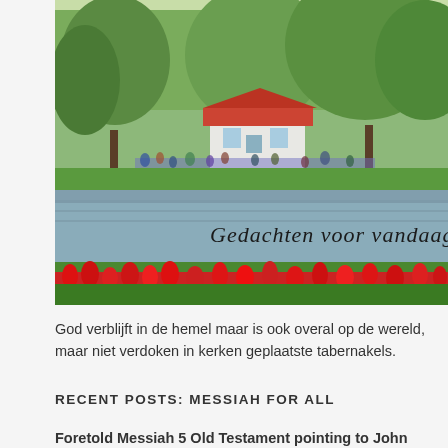[Figure (photo): A scenic Dutch garden park (likely Keukenhof) with a lake in the foreground, red tulips along the bank, green trees, and a white cottage building in the background with crowds of visitors. Cursive Dutch text overlaid reads 'Gedachten voor vandaag'.]
God verblijft in de hemel maar is ook overal op de wereld, maar niet verdoken in kerken geplaatste tabernakels.
RECENT POSTS: MESSIAH FOR ALL
Foretold Messiah 5 Old Testament pointing to John